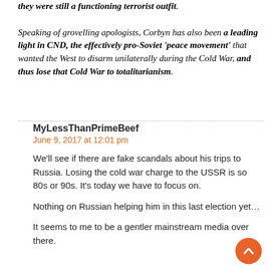they were still a functioning terrorist outfit. Speaking of grovelling apologists, Corbyn has also been a leading light in CND, the effectively pro-Soviet 'peace movement' that wanted the West to disarm unilaterally during the Cold War, and thus lose that Cold War to totalitarianism.
MyLessThanPrimeBeef
June 9, 2017 at 12:01 pm
We'll see if there are fake scandals about his trips to Russia. Losing the cold war charge to the USSR is so 80s or 90s. It's today we have to focus on.
Nothing on Russian helping him in this last election yet…
It seems to me to be a gentler mainstream media over there.